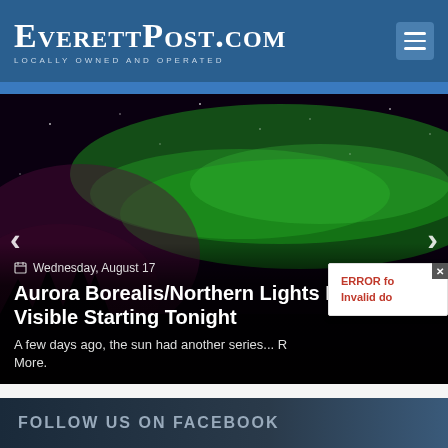EverettPost.com — Locally Owned and Operated
[Figure (photo): Northern Lights / Aurora Borealis over a dark forest silhouette, green and purple sky]
Wednesday, August 17
Aurora Borealis/Northern Lights May Be Visible Starting Tonight
A few days ago, the sun had another series... Read More.
ERROR for site owner: Invalid do
FOLLOW US ON FACEBOOK